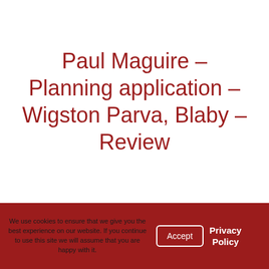Paul Maguire – Planning application – Wigston Parva, Blaby – Review
We use cookies to ensure that we give you the best experience on our website. If you continue to use this site we will assume that you are happy with it.